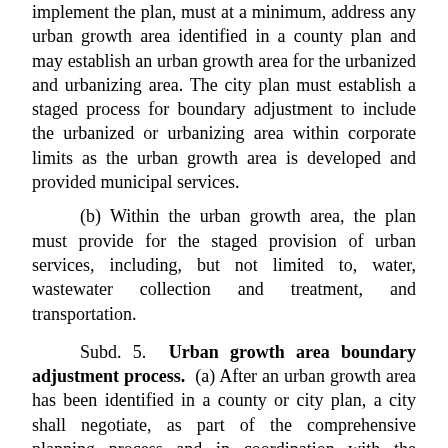implement the plan, must at a minimum, address any urban growth area identified in a county plan and may establish an urban growth area for the urbanized and urbanizing area. The city plan must establish a staged process for boundary adjustment to include the urbanized or urbanizing area within corporate limits as the urban growth area is developed and provided municipal services.
(b) Within the urban growth area, the plan must provide for the staged provision of urban services, including, but not limited to, water, wastewater collection and treatment, and transportation.
Subd. 5. Urban growth area boundary adjustment process. (a) After an urban growth area has been identified in a county or city plan, a city shall negotiate, as part of the comprehensive planning process and in coordination with the county, an orderly annexation agreement with the townships containing the affected unincorporated areas located within the identified urban growth area. The agreement shall contain a boundary adjustment staging plan that establishes a sequencing plan over the subsequent 20-year period for the orderly growth of the city based on its reasonably anticipated